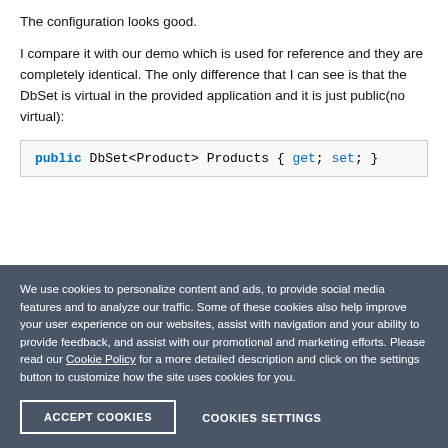The configuration looks good.
I compare it with our demo which is used for reference and they are completely identical. The only difference that I can see is that the DbSet is virtual in the provided application and it is just public(no virtual):
public DbSet<Product> Products { get; set; }
We use cookies to personalize content and ads, to provide social media features and to analyze our traffic. Some of these cookies also help improve your user experience on our websites, assist with navigation and your ability to provide feedback, and assist with our promotional and marketing efforts. Please read our Cookie Policy for a more detailed description and click on the settings button to customize how the site uses cookies for you.
ACCEPT COOKIES
COOKIES SETTINGS